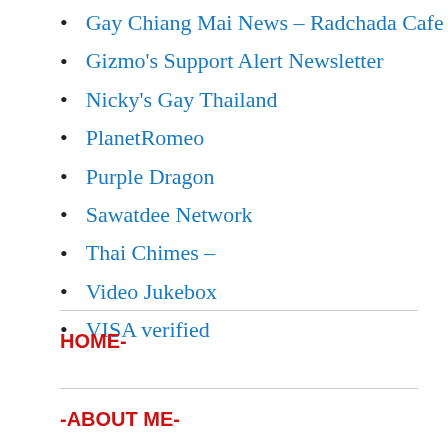Gay Chiang Mai News – Radchada Cafe
Gizmo's Support Alert Newsletter
Nicky's Gay Thailand
PlanetRomeo
Purple Dragon
Sawatdee Network
Thai Chimes –
Video Jukebox
VISA verified
HOME-
-ABOUT ME-